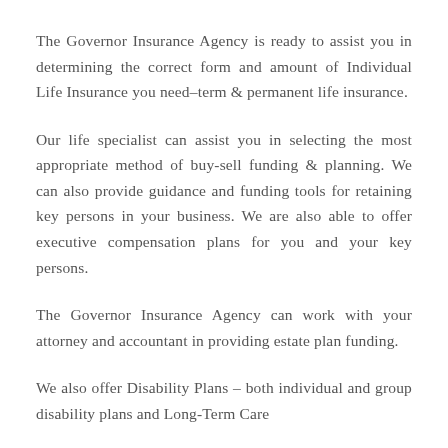The Governor Insurance Agency is ready to assist you in determining the correct form and amount of Individual Life Insurance you need–term & permanent life insurance.
Our life specialist can assist you in selecting the most appropriate method of buy-sell funding & planning. We can also provide guidance and funding tools for retaining key persons in your business. We are also able to offer executive compensation plans for you and your key persons.
The Governor Insurance Agency can work with your attorney and accountant in providing estate plan funding.
We also offer Disability Plans – both individual and group disability plans and Long-Term Care...